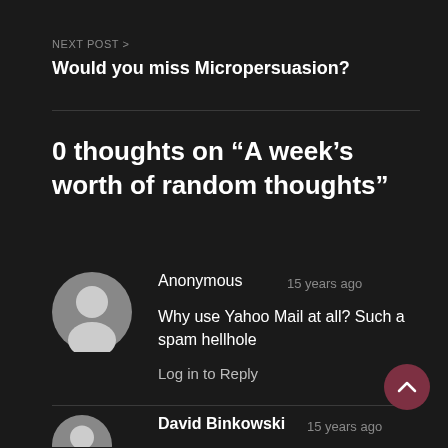NEXT POST >
Would you miss Micropersuasion?
0 thoughts on “A week’s worth of random thoughts”
Anonymous  15 years ago
Why use Yahoo Mail at all? Such a spam hellhole
Log in to Reply
David Binkowski  15 years ago